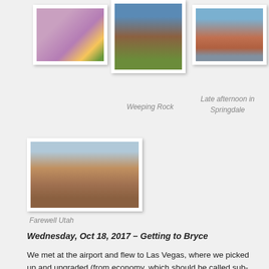[Figure (photo): A purple flower with green stems against a pink/purple background]
[Figure (photo): Weeping Rock arch view with blue sky and green vegetation below]
Weeping Rock
[Figure (photo): Late afternoon mountain view of red rock formations in Springdale]
Late afternoon in Springdale
[Figure (photo): Aerial canyon landscape of Utah with red rock formations]
Farewell Utah
Wednesday, Oct 18, 2017 – Getting to Bryce
We met at the airport and flew to Las Vegas, where we picked up and upgraded (from economy, which should be called sub-compact, to compact) our rental car; I'm the designated driver. It was overcast. We stopped in Mesquite